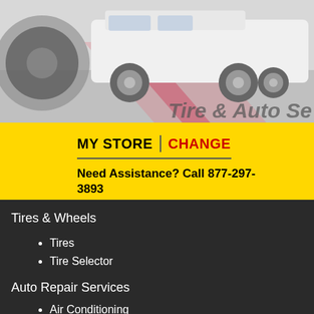[Figure (photo): Header banner showing a white van/truck on a gray background with a tire visible on the left and partial 'Tire & Auto Se' text on the right]
MY STORE | CHANGE
Need Assistance? Call 877-297-3893
Tires & Wheels
Tires
Tire Selector
Tire Brands
Tire Installation
Tire Rotation
Wheel Alignments
Auto Repair Services
Air Conditioning
Brakes